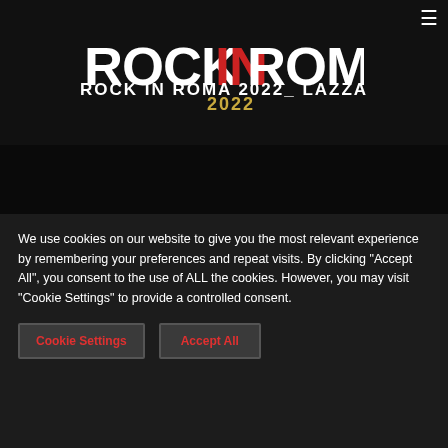[Figure (logo): Rock In Roma 2022 logo with stylized text and red IN highlight, golden 2022 beneath]
ROCK IN ROMA 2022_ LAZZA
Comunicati Stampa
[Figure (other): Date card showing 14 03 2022 with large red italic 14]
We use cookies on our website to give you the most relevant experience by remembering your preferences and repeat visits. By clicking "Accept All", you consent to the use of ALL the cookies. However, you may visit "Cookie Settings" to provide a controlled consent.
Cookie Settings  Accept All